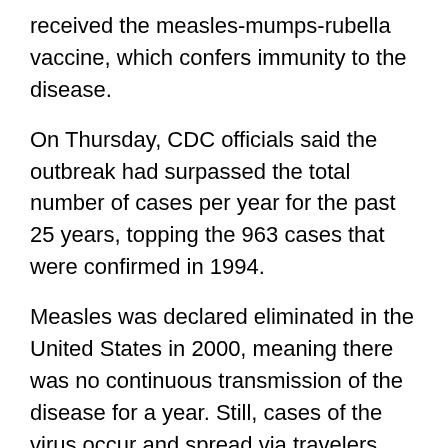received the measles-mumps-rubella vaccine, which confers immunity to the disease.
On Thursday, CDC officials said the outbreak had surpassed the total number of cases per year for the past 25 years, topping the 963 cases that were confirmed in 1994.
Measles was declared eliminated in the United States in 2000, meaning there was no continuous transmission of the disease for a year. Still, cases of the virus occur and spread via travelers coming from countries where measles is common.
CDC officials have warned that the country risks losing its measles elimination status if the ongoing outbreak, which began in October 2018 in New York, continues until October 2019.
“Measles is preventable and the way to end this